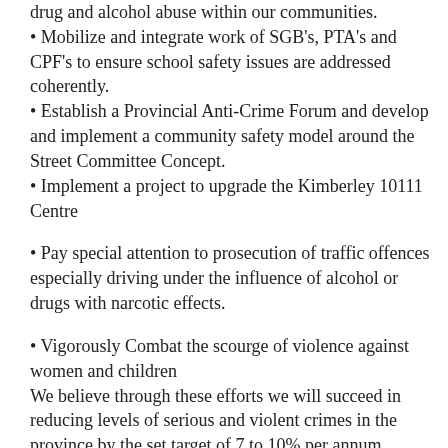drug and alcohol abuse within our communities.
• Mobilize and integrate work of SGB's, PTA's and CPF's to ensure school safety issues are addressed coherently.
• Establish a Provincial Anti-Crime Forum and develop and implement a community safety model around the Street Committee Concept.
• Implement a project to upgrade the Kimberley 10111 Centre
• Pay special attention to prosecution of traffic offences especially driving under the influence of alcohol or drugs with narcotic effects.
• Vigorously Combat the scourge of violence against women and children
We believe through these efforts we will succeed in reducing levels of serious and violent crimes in the province by the set target of 7 to 10% per annum.
In line with the department of Social Development's aim to